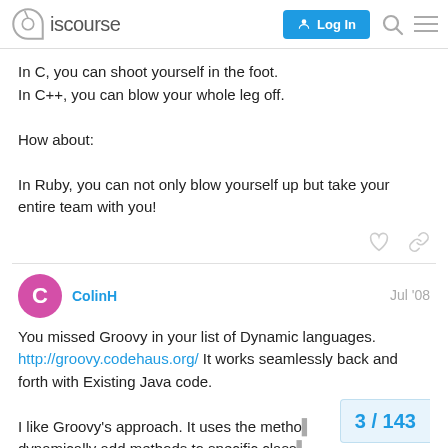Discourse — Log In
In C, you can shoot yourself in the foot.
In C++, you can blow your whole leg off.

How about:

In Ruby, you can not only blow yourself up but take your entire team with you!
ColinH   Jul '08

You missed Groovy in your list of Dynamic languages.
http://groovy.codehaus.org/ It works seamlessly back and forth with Existing Java code.

I like Groovy's approach. It uses the metho... dynamically add methods to specific class...
3 / 143